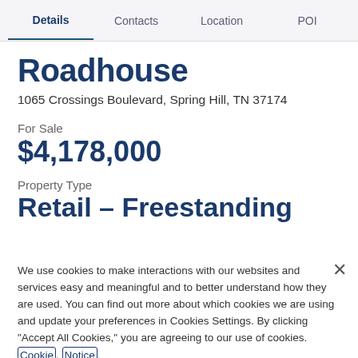Details   Contacts   Location   POI
Roadhouse
1065 Crossings Boulevard, Spring Hill, TN 37174
For Sale
$4,178,000
Property Type
Retail – Freestanding
We use cookies to make interactions with our websites and services easy and meaningful and to better understand how they are used. You can find out more about which cookies we are using and update your preferences in Cookies Settings. By clicking "Accept All Cookies," you are agreeing to our use of cookies. Cookie Notice.